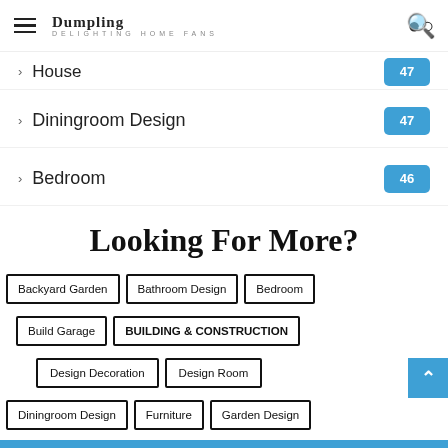Dumpling DELIGHTING HOME FANS
House 47
Diningroom Design 47
Bedroom 46
Looking For More?
Backyard Garden
Bathroom Design
Bedroom
Build Garage
BUILDING & CONSTRUCTION
Design Decoration
Design Room
Diningroom Design
Furniture
Garden Design